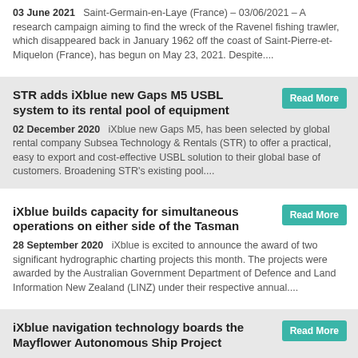03 June 2021  Saint-Germain-en-Laye (France) – 03/06/2021 – A research campaign aiming to find the wreck of the Ravenel fishing trawler, which disappeared back in January 1962 off the coast of Saint-Pierre-et-Miquelon (France), has begun on May 23, 2021. Despite....
STR adds iXblue new Gaps M5 USBL system to its rental pool of equipment
02 December 2020  iXblue new Gaps M5, has been selected by global rental company Subsea Technology & Rentals (STR) to offer a practical, easy to export and cost-effective USBL solution to their global base of customers. Broadening STR's existing pool....
iXblue builds capacity for simultaneous operations on either side of the Tasman
28 September 2020  iXblue is excited to announce the award of two significant hydrographic charting projects this month. The projects were awarded by the Australian Government Department of Defence and Land Information New Zealand (LINZ) under their respective annual....
iXblue navigation technology boards the Mayflower Autonomous Ship Project
22 September 2020  iXblue navigation technology has been selected by marine research organisation ProMare, to provide highly accurate navigation capability to one of the